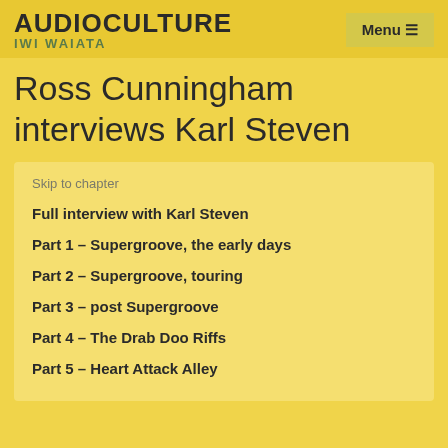AUDIOCULTURE IWI WAIATA
Ross Cunningham interviews Karl Steven
Skip to chapter
Full interview with Karl Steven
Part 1 – Supergroove, the early days
Part 2 – Supergroove, touring
Part 3 – post Supergroove
Part 4 – The Drab Doo Riffs
Part 5 – Heart Attack Alley